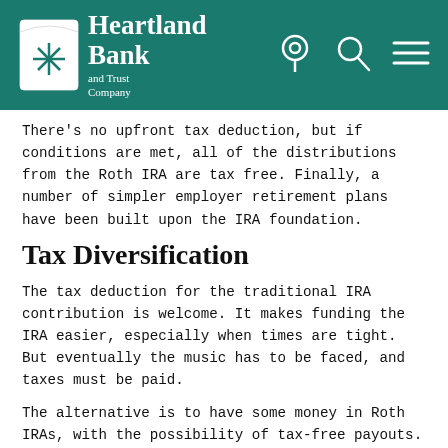[Figure (logo): Heartland Bank and Trust Company logo with teal/green background header, location pin icon, search icon, and hamburger menu icon]
There's no upfront tax deduction, but if conditions are met, all of the distributions from the Roth IRA are tax free. Finally, a number of simpler employer retirement plans have been built upon the IRA foundation.
Tax Diversification
The tax deduction for the traditional IRA contribution is welcome. It makes funding the IRA easier, especially when times are tight. But eventually the music has to be faced, and taxes must be paid.
The alternative is to have some money in Roth IRAs, with the possibility of tax-free payouts. This can create greater flexibility and control of the tax effects of a retirement income stream. Also, Roth IRAs are exempt from required minimum distributions during the owner's life.